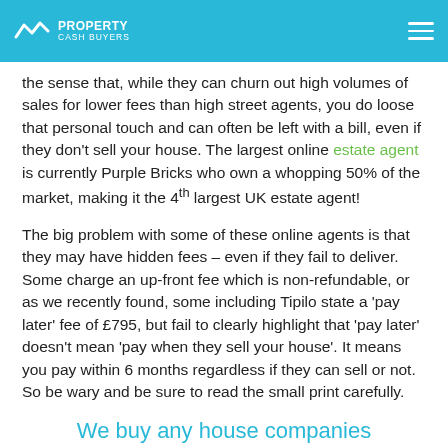PROPERTY CASH BUYERS
the sense that, while they can churn out high volumes of sales for lower fees than high street agents, you do loose that personal touch and can often be left with a bill, even if they don't sell your house. The largest online estate agent is currently Purple Bricks who own a whopping 50% of the market, making it the 4th largest UK estate agent!
The big problem with some of these online agents is that they may have hidden fees – even if they fail to deliver. Some charge an up-front fee which is non-refundable, or as we recently found, some including Tipilo state a 'pay later' fee of £795, but fail to clearly highlight that 'pay later' doesn't mean 'pay when they sell your house'. It means you pay within 6 months regardless if they can sell or not. So be wary and be sure to read the small print carefully.
We buy any house companies